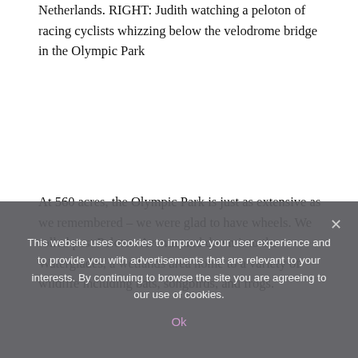Netherlands. RIGHT: Judith watching a peloton of racing cyclists whizzing below the velodrome bridge in the Olympic Park
At 560 acres, the Olympic Park is just as extensive as we remembered – we were glad to have wheels. We rolled past Peloton Avenue and down into the Waterglades, a wetlands area home to a variety of wildlife including bats, songbirds, and frogs.
The hotel's Dutch bike, with mudguards, chunky lock
This website uses cookies to improve your user experience and to provide you with advertisements that are relevant to your interests. By continuing to browse the site you are agreeing to our use of cookies.
Ok